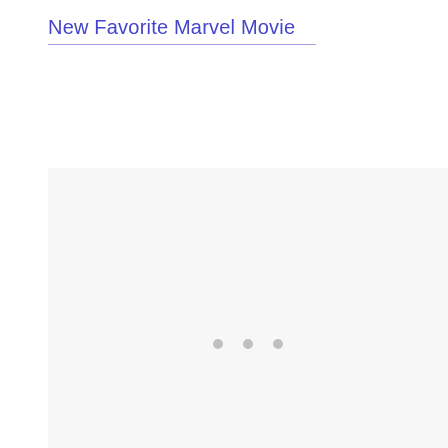New Favorite Marvel Movie
[Figure (other): Loading placeholder box with light gray background and three gray dots in the center, indicating content is loading]